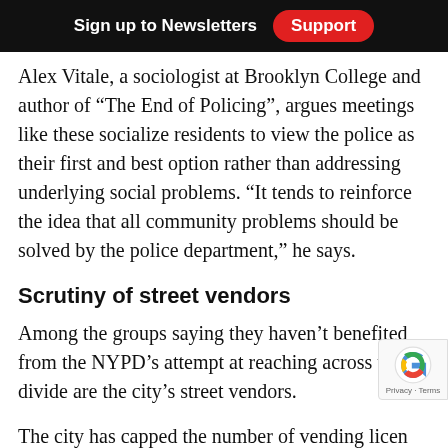Sign up to Newsletters   Support
Alex Vitale, a sociologist at Brooklyn College and author of “The End of Policing”, argues meetings like these socialize residents to view the police as their first and best option rather than addressing underlying social problems. “It tends to reinforce the idea that all community problems should be solved by the police department,” he says.
Scrutiny of street vendors
Among the groups saying they haven’t benefited from the NYPD’s attempt at reaching across the divide are the city’s street vendors.
The city has capped the number of vending licen since the 1980’s, leading to a large informal sector of